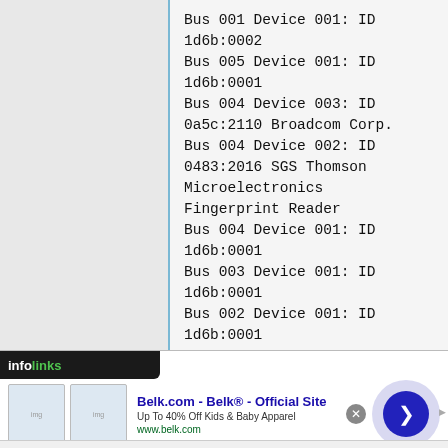Bus 001 Device 001: ID 1d6b:0002
Bus 005 Device 001: ID 1d6b:0001
Bus 004 Device 003: ID 0a5c:2110 Broadcom Corp.
Bus 004 Device 002: ID 0483:2016 SGS Thomson Microelectronics Fingerprint Reader
Bus 004 Device 001: ID 1d6b:0001
Bus 003 Device 001: ID 1d6b:0001
Bus 002 Device 001: ID 1d6b:0001
[Figure (screenshot): Infolinks advertisement bar with Belk.com ad showing kids apparel]